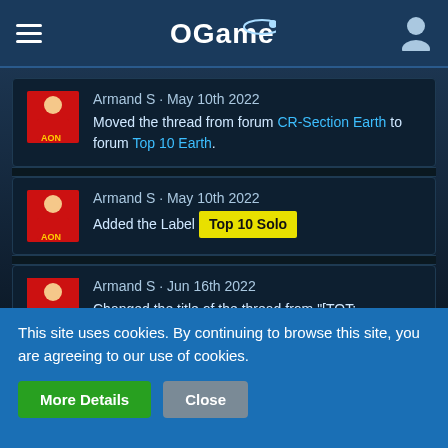OGame
Armand S · May 10th 2022
Moved the thread from forum CR-Section Earth to forum Top 10 Earth.
Armand S · May 10th 2022
Added the Label Top 10 Solo
Armand S · Jun 16th 2022
Changed the title of the thread from "[TOT: 5.316.866.000] E N D vs. Phoenix [Olympus] (A: 729.578.000, D: 4.587.288.000)" to "Solo Top 08 -
This site uses cookies. By continuing to browse this site, you are agreeing to our use of cookies.